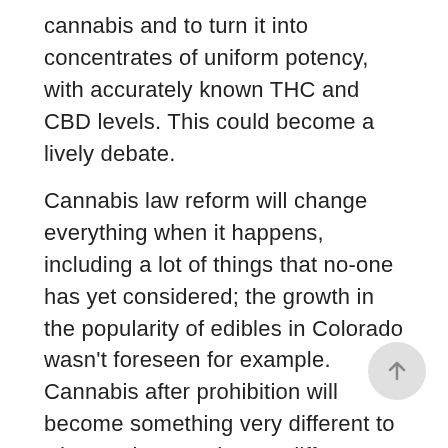cannabis and to turn it into concentrates of uniform potency, with accurately known THC and CBD levels. This could become a lively debate.
Cannabis law reform will change everything when it happens, including a lot of things that no-one has yet considered; the growth in the popularity of edibles in Colorado wasn’t foreseen for example. Cannabis after prohibition will become something very different to what we know today, as different as fine wines are to moonshine. So we shouldn’t restrict it in such a way as to prevent change.  Anyway over time social norms will grow to regulate the way people use cannabis as society gains widespread experience of it.